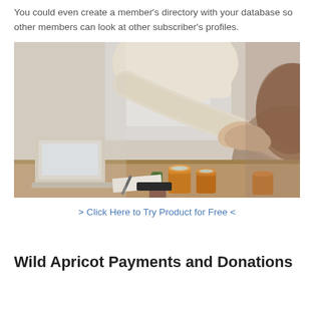You could even create a member's directory with your database so other members can look at other subscriber's profiles.
[Figure (photo): Two people shaking hands across a desk with a laptop, coffee cups, a small cactus plant, and papers visible on the desk. Shot from a slightly elevated angle.]
> Click Here to Try Product for Free <
Wild Apricot Payments and Donations